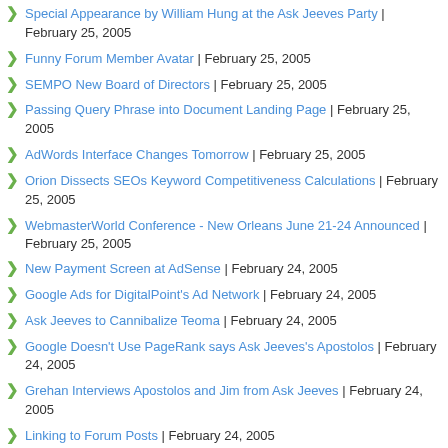Special Appearance by William Hung at the Ask Jeeves Party | February 25, 2005
Funny Forum Member Avatar | February 25, 2005
SEMPO New Board of Directors | February 25, 2005
Passing Query Phrase into Document Landing Page | February 25, 2005
AdWords Interface Changes Tomorrow | February 25, 2005
Orion Dissects SEOs Keyword Competitiveness Calculations | February 25, 2005
WebmasterWorld Conference - New Orleans June 21-24 Announced | February 25, 2005
New Payment Screen at AdSense | February 24, 2005
Google Ads for DigitalPoint's Ad Network | February 24, 2005
Ask Jeeves to Cannibalize Teoma | February 24, 2005
Google Doesn't Use PageRank says Ask Jeeves's Apostolos | February 24, 2005
Grehan Interviews Apostolos and Jim from Ask Jeeves | February 24, 2005
Linking to Forum Posts | February 24, 2005
Google Movies | February 23, 2005
GoogleBot on the Crawl | February 23, 2005
NAC (Natural Area Code) Meta Tag | February 23, 2005
MSN Search Geo-Targeting | February 23, 2005
HotBot Drops Yahoo! Search | February 23, 2005
Picsearch to Power MSN Image Search | February 22, 2005